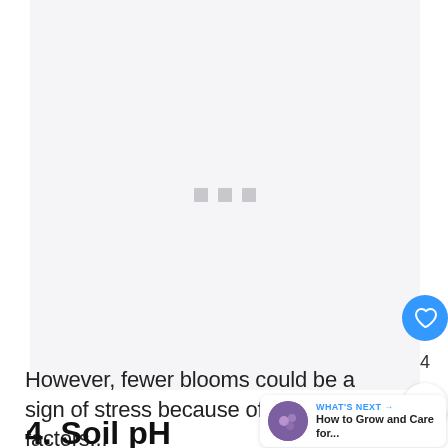[Figure (other): Advertisement placeholder area with light gray background and three small gray square dots centered]
However, fewer blooms could be a sign of stress because of other factors...
4. Soil pH